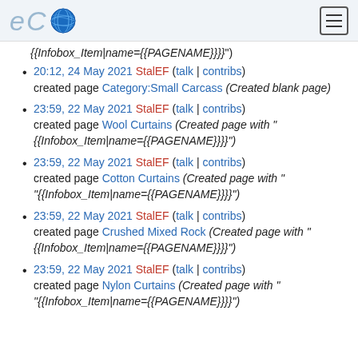eCO wiki logo with hamburger menu
{{Infobox_Item|name={{PAGENAME}}}}"
20:12, 24 May 2021 StalEF (talk | contribs) created page Category:Small Carcass (Created blank page)
23:59, 22 May 2021 StalEF (talk | contribs) created page Wool Curtains (Created page with "{{Infobox_Item|name={{PAGENAME}}}}")
23:59, 22 May 2021 StalEF (talk | contribs) created page Cotton Curtains (Created page with "{{Infobox_Item|name={{PAGENAME}}}}")
23:59, 22 May 2021 StalEF (talk | contribs) created page Crushed Mixed Rock (Created page with "{{Infobox_Item|name={{PAGENAME}}}}")
23:59, 22 May 2021 StalEF (talk | contribs) created page Nylon Curtains (Created page with "{{Infobox_Item|name={{PAGENAME}}}}")